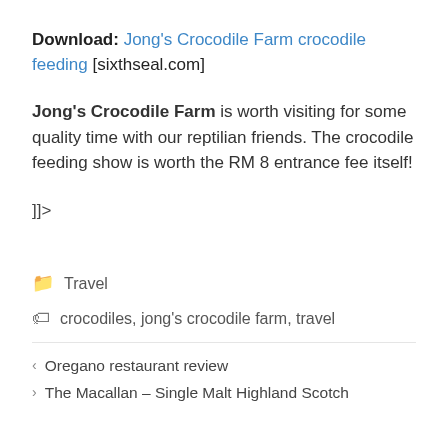Download: Jong's Crocodile Farm crocodile feeding [sixthseal.com]
Jong's Crocodile Farm is worth visiting for some quality time with our reptilian friends. The crocodile feeding show is worth the RM 8 entrance fee itself!
]]>
📁 Travel
🏷 crocodiles, jong's crocodile farm, travel
< Oregano restaurant review
> The Macallan – Single Malt Highland Scotch